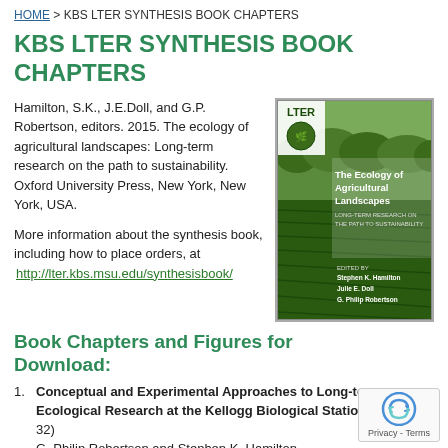HOME > KBS LTER SYNTHESIS BOOK CHAPTERS
KBS LTER SYNTHESIS BOOK CHAPTERS
Hamilton, S.K., J.E.Doll, and G.P. Robertson, editors. 2015. The ecology of agricultural landscapes: Long-term research on the path to sustainability. Oxford University Press, New York, New York, USA.
[Figure (photo): Book cover of 'The Ecology of Agricultural Landscapes: Long-Term Research on the Path to Sustainability' edited by Stephen K. Hamilton, Julie E. Doll, G. Philip Robertson. Published by LTER.]
More information about the synthesis book, including how to place orders, at http://lter.kbs.msu.edu/synthesisbook/
Book Chapters and Figures for Download:
Conceptual and Experimental Approaches to Long-term Ecological Research at the Kellogg Biological Station (pages 1-32) G. Philip Robertson and Stephen K. Hamilton PDF file of chapter; PPT file of figures
Farming for Ecosystem Services: An Ecological Approach to